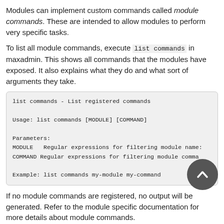Modules can implement custom commands called module commands. These are intended to allow modules to perform very specific tasks.
To list all module commands, execute list commands in maxadmin. This shows all commands that the modules have exposed. It also explains what they do and what sort of arguments they take.
list commands - List registered commands

Usage: list commands [MODULE] [COMMAND]

Parameters:
MODULE   Regular expressions for filtering module names
COMMAND Regular expressions for filtering module commands

Example: list commands my-module my-command
If no module commands are registered, no output will be generated. Refer to the module specific documentation for more details about module commands.